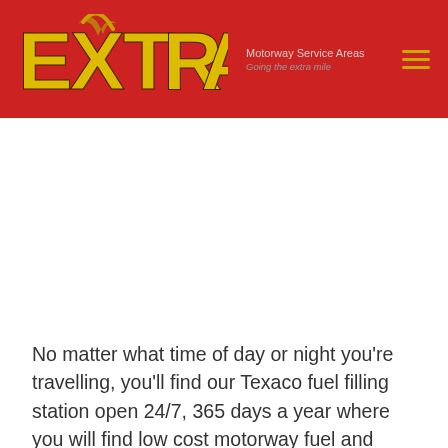[Figure (logo): EXTRA Motorway Service Areas logo on red background with yellow letters and golden arch design, with 'Motorway Service Areas' and 'Going the extra mile' text, and a hamburger menu icon]
No matter what time of day or night you're travelling, you'll find our Texaco fuel filling station open 24/7, 365 days a year where you will find low cost motorway fuel and Texaco Supreme 99 Performance+. As well as fuel